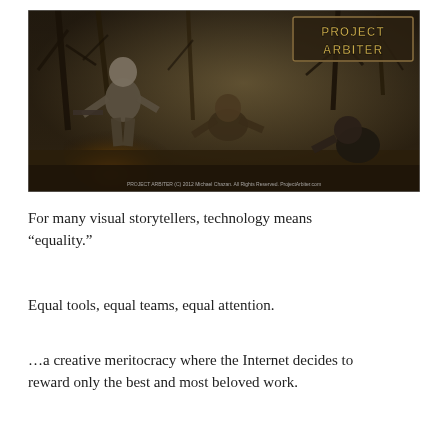[Figure (illustration): Dark fantasy/post-apocalyptic illustration titled 'Project Arbiter' showing an armored figure with a gas mask in a forest, fighting humans near fire and destruction. Copyright watermark at bottom reads: PROJECT ARBITER (C) 2012 Michael Chazan. All Rights Reserved. ProjectArbiter.com]
For many visual storytellers, technology means “equality.”
Equal tools, equal teams, equal attention.
…a creative meritocracy where the Internet decides to reward only the best and most beloved work.